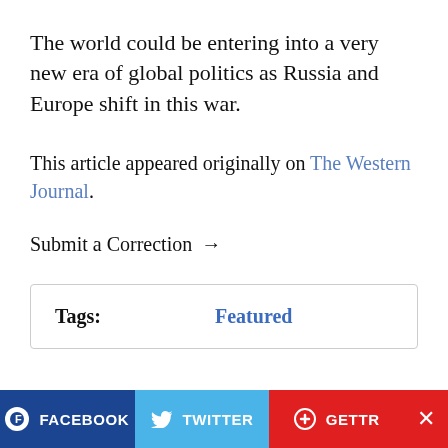The world could be entering into a very new era of global politics as Russia and Europe shift in this war.
This article appeared originally on The Western Journal.
Submit a Correction →
| Tags: | Featured |
| --- | --- |
FACEBOOK   TWITTER   GETTR